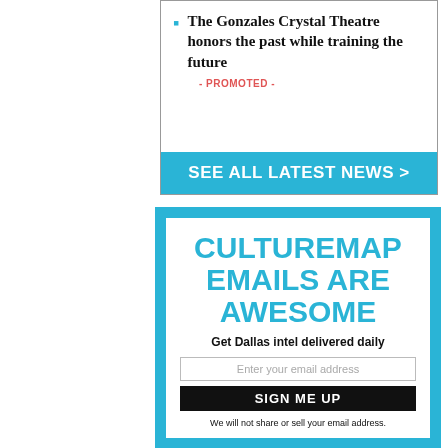The Gonzales Crystal Theatre honors the past while training the future
- PROMOTED -
SEE ALL LATEST NEWS >
CULTUREMAP EMAILS ARE AWESOME
Get Dallas intel delivered daily
Enter your email address
SIGN ME UP
We will not share or sell your email address.